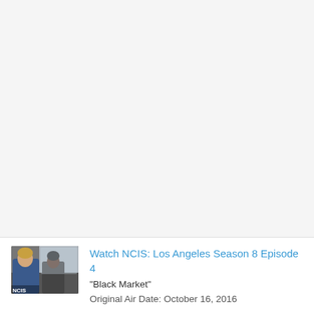[Figure (other): Large blank/light gray area representing an empty content region at the top of the page]
[Figure (photo): Thumbnail image showing two people, one in a blue hoodie and one in dark clothing, sitting in a car — from NCIS: Los Angeles Season 8 Episode 4]
Watch NCIS: Los Angeles Season 8 Episode 4
"Black Market"
Original Air Date: October 16, 2016